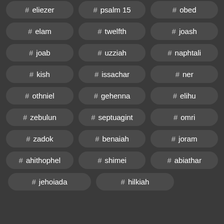# eliezer
# psalm 15
# obed
# elam
# twelfth
# joash
# joab
# uzziah
# naphtali
# kish
# issachar
# ner
# othniel
# gehenna
# elihu
# zebulun
# septuagint
# omri
# zadok
# benaiah
# joram
# ahithophel
# shimei
# abiathar
# jehoiada
# hilkiah